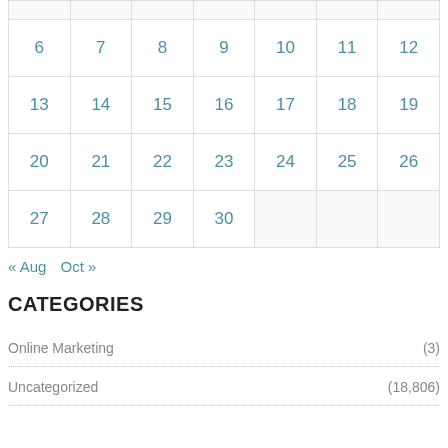| 6 | 7 | 8 | 9 | 10 | 11 | 12 |
| 13 | 14 | 15 | 16 | 17 | 18 | 19 |
| 20 | 21 | 22 | 23 | 24 | 25 | 26 |
| 27 | 28 | 29 | 30 |  |  |  |
« Aug   Oct »
CATEGORIES
Online Marketing (3)
Uncategorized (18,806)